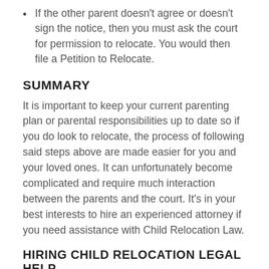If the other parent doesn't agree or doesn't sign the notice, then you must ask the court for permission to relocate. You would then file a Petition to Relocate.
SUMMARY
It is important to keep your current parenting plan or parental responsibilities up to date so if you do look to relocate, the process of following said steps above are made easier for you and your loved ones. It can unfortunately become complicated and require much interaction between the parents and the court. It's in your best interests to hire an experienced attorney if you need assistance with Child Relocation Law.
HIRING CHILD RELOCATION LEGAL HELP